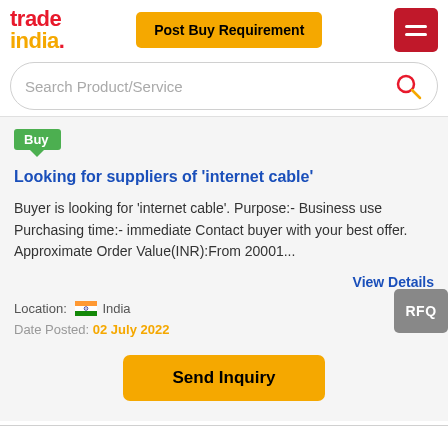[Figure (logo): TradeIndia logo with red 'trade' and yellow/orange 'india.' text]
Post Buy Requirement
[Figure (other): Hamburger menu icon (two horizontal white lines on red background)]
Search Product/Service
Buy
Looking for suppliers of 'internet cable'
Buyer is looking for 'internet cable'. Purpose:- Business use Purchasing time:- immediate Contact buyer with your best offer. Approximate Order Value(INR):From 20001...
View Details
Location:  India
Date Posted: 02 July 2022
Send Inquiry